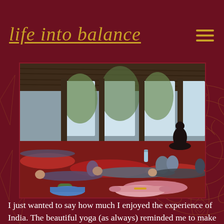life into balance
[Figure (photo): A yoga class in an open-air pavilion in India. Multiple students lie on red yoga mats with bolsters and blocks, in relaxation/restorative poses. A silhouetted figure sits meditating in the background near bright windows. The space has wooden columns and a thatched roof.]
I just wanted to say how much I enjoyed the experience of India. The beautiful yoga (as always) reminded me to make my practice my own& really